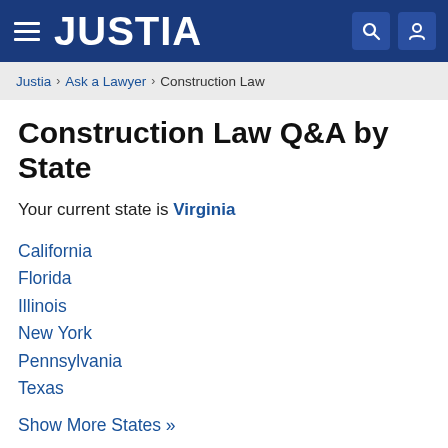JUSTIA
Justia › Ask a Lawyer › Construction Law
Construction Law Q&A by State
Your current state is Virginia
California
Florida
Illinois
New York
Pennsylvania
Texas
Show More States »